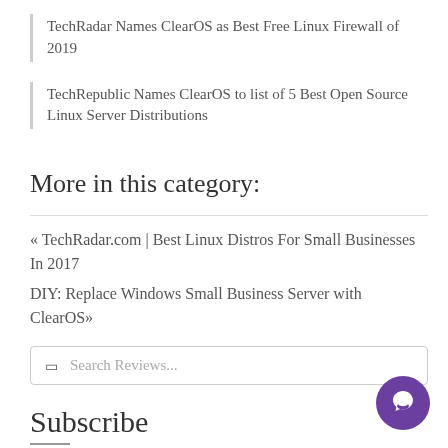TechRadar Names ClearOS as Best Free Linux Firewall of 2019
TechRepublic Names ClearOS to list of 5 Best Open Source Linux Server Distributions
More in this category:
« TechRadar.com | Best Linux Distros For Small Businesses In 2017
DIY: Replace Windows Small Business Server with ClearOS»
Search Reviews...
Subscribe
Sign up with the latest news and product announcements